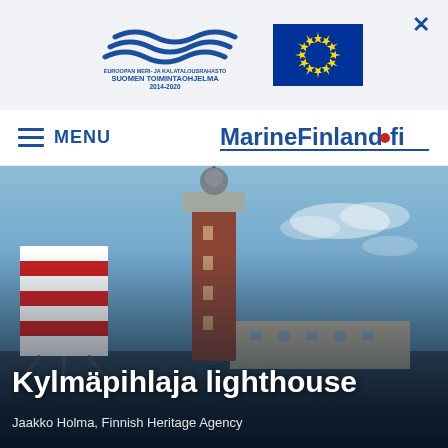[Figure (logo): Two logos: Finnish Maritime and Fisheries Operational Programme 2014-2020 (Suomen Toimintaohjelma 2014-2020) with blue wave design on left, and EU flag (blue background with yellow stars circle) on right]
[Figure (logo): MarineFinland.fi logo with red dot between 'Finland' and '.fi']
[Figure (photo): Kylmäpihlaja lighthouse – a tall red brick tower with radar equipment on top, a red and white striped container structure to the left, and a low white building in the background, under a blue sky with clouds. Title 'Kylmäpihlaja lighthouse' overlaid in white bold text with attribution 'Jaakko Holma, Finnish Heritage Agency' below.]
Kylmäpihlaja lighthouse
Jaakko Holma, Finnish Heritage Agency